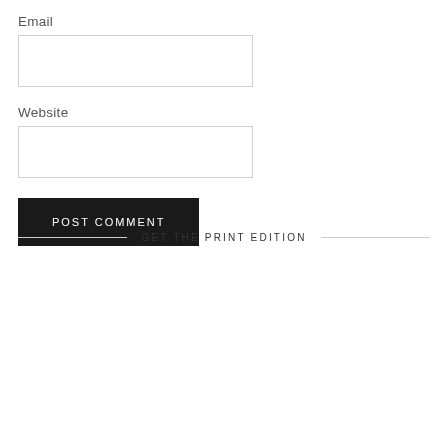Email
[Figure (other): Empty text input box for Email]
Website
[Figure (other): Empty text input box for Website]
POST COMMENT
GET THE PRINT EDITION